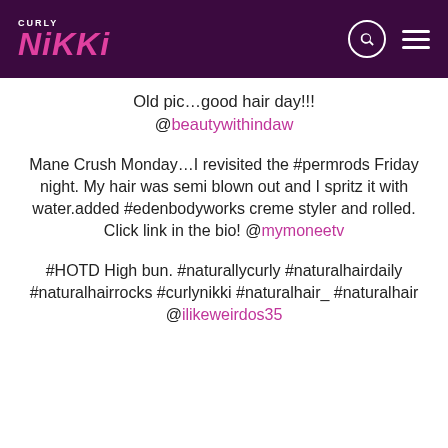CURLY NIKKI
Old pic…good hair day!!! @beautywithindaw
Mane Crush Monday…I revisited the #permrods Friday night. My hair was semi blown out and I spritz it with water.added #edenbodyworks creme styler and rolled. Click link in the bio! @mymoneetv
#HOTD High bun. #naturallycurly #naturalhairdaily #naturalhairrocks #curlynikki #naturalhair_ #naturalhair @ilikeweirdos35